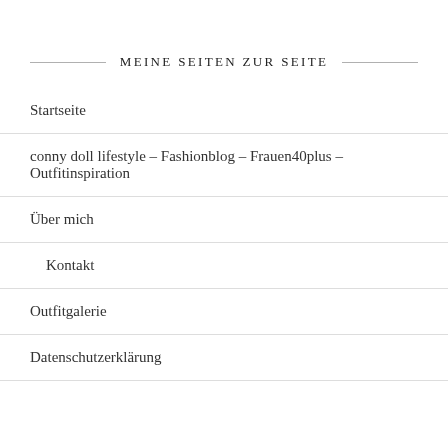MEINE SEITEN ZUR SEITE
Startseite
conny doll lifestyle – Fashionblog – Frauen40plus – Outfitinspiration
Über mich
Kontakt
Outfitgalerie
Datenschutzerklärung